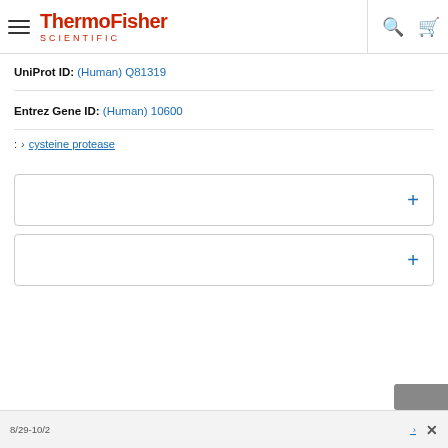ThermoFisher Scientific
UniProt ID: (Human) Q81319
Entrez Gene ID: (Human) 10600
????????: > cysteine protease
?? [accordion collapsed]
???? [accordion collapsed]
????????8/29-10/2???????????????????????? ???? ›  ×